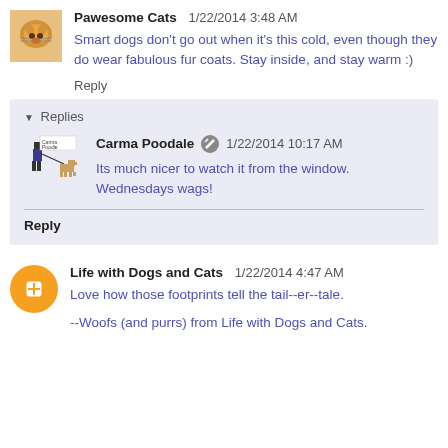Pawesome Cats  1/22/2014 3:48 AM
Smart dogs don't go out when it's this cold, even though they do wear fabulous fur coats. Stay inside, and stay warm :)
Reply
Replies
Carma Poodale  1/22/2014 10:17 AM
Its much nicer to watch it from the window. Wednesdays wags!
Reply
Life with Dogs and Cats  1/22/2014 4:47 AM
Love how those footprints tell the tail--er--tale.

--Woofs (and purrs) from Life with Dogs and Cats.